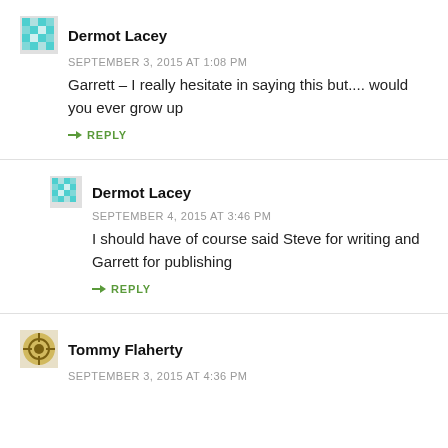Dermot Lacey
SEPTEMBER 3, 2015 AT 1:08 PM
Garrett – I really hesitate in saying this but.... would you ever grow up
REPLY
Dermot Lacey
SEPTEMBER 4, 2015 AT 3:46 PM
I should have of course said Steve for writing and Garrett for publishing
REPLY
Tommy Flaherty
SEPTEMBER 3, 2015 AT 4:36 PM